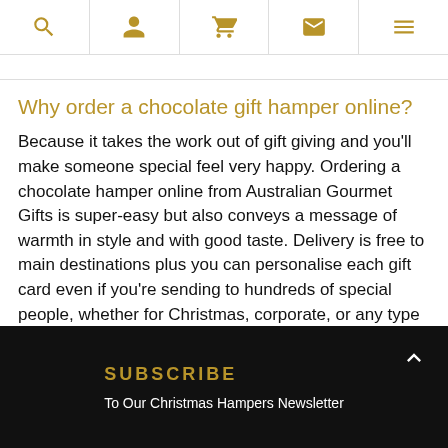Navigation bar with search, account, cart, mail, and menu icons
Why order a chocolate gift hamper online?
Because it takes the work out of gift giving and you'll make someone special feel very happy. Ordering a chocolate hamper online from Australian Gourmet Gifts is super-easy but also conveys a message of warmth in style and with good taste. Delivery is free to main destinations plus you can personalise each gift card even if you're sending to hundreds of special people, whether for Christmas, corporate, or any type of best wishes through the year.
SUBSCRIBE
To Our Christmas Hampers Newsletter